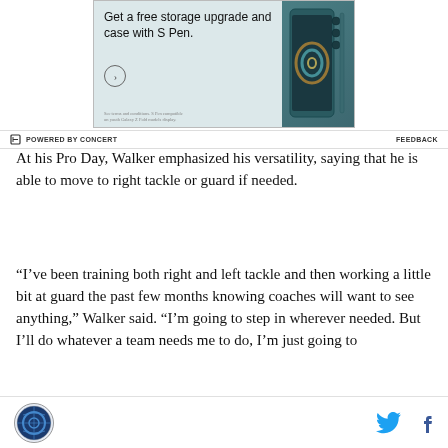[Figure (other): Advertisement for Samsung Galaxy Z Fold with S Pen. Text reads 'Get a free storage upgrade and case with S Pen.' Shows phone image and circle arrow button.]
POWERED BY CONCERT    FEEDBACK
At his Pro Day, Walker emphasized his versatility, saying that he is able to move to right tackle or guard if needed.
“I’ve been training both right and left tackle and then working a little bit at guard the past few months knowing coaches will want to see anything,” Walker said. “I’m going to step in wherever needed. But I’ll do whatever a team needs me to do, I’m just going to
Footer with site logo, Twitter icon, Facebook icon